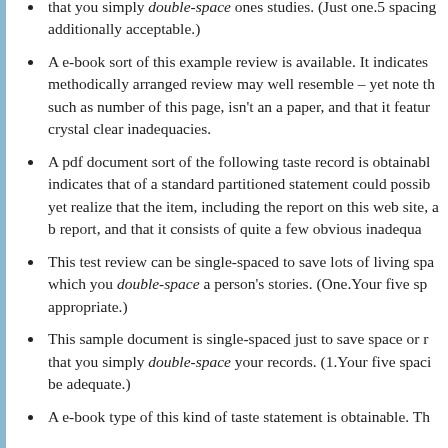that you simply double-space ones studies. (Just one.5 spacing additionally acceptable.)
A e-book sort of this example review is available. It indicates methodically arranged review may well resemble – yet note that such as number of this page, isn't an a paper, and that it features crystal clear inadequacies.
A pdf document sort of the following taste record is obtainable. It indicates that of a standard partitioned statement could possibly resemble – yet realize that the item, including the report on this web site, isn't a b report, and that it consists of quite a few obvious inadequacies.
This test review can be single-spaced to save lots of living space, which you double-space a person's stories. (One.Your five spacing appropriate.)
This sample document is single-spaced just to save space or room – that you simply double-space your records. (1.Your five spacing be adequate.)
A e-book type of this kind of taste statement is obtainable. This indicates that a methodically arranged review may resemble –